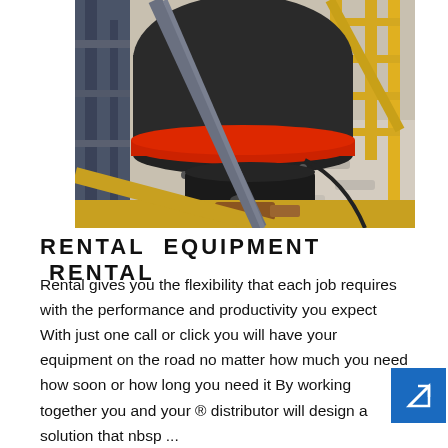[Figure (photo): Industrial heavy equipment — a cone crusher or similar rotary machine with a red ring/belt, black cylindrical body, yellow safety railings/scaffolding, and grey/blue structural steel framing. Photographed from above at an angle.]
RENTAL EQUIPMENT RENTAL
Rental gives you the flexibility that each job requires with the performance and productivity you expect With just one call or click you will have your equipment on the road no matter how much you need how soon or how long you need it By working together you and your ® distributor will design a solution that nbsp ...